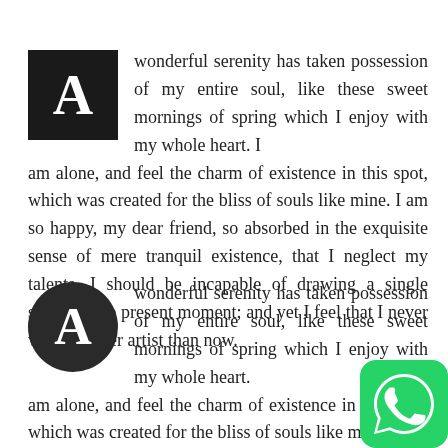A wonderful serenity has taken possession of my entire soul, like these sweet mornings of spring which I enjoy with my whole heart. I am alone, and feel the charm of existence in this spot, which was created for the bliss of souls like mine. I am so happy, my dear friend, so absorbed in the exquisite sense of mere tranquil existence, that I neglect my talents. I should be incapable of drawing a single stroke at the present moment; and yet I feel that I never was a greater artist than now.
A wonderful serenity has taken possession of my entire soul, like these sweet mornings of spring which I enjoy with my whole heart. I am alone, and feel the charm of existence in this spot, which was created for the bliss of souls like mine. I am
[Figure (logo): WhatsApp logo icon in green circle, bottom right corner]